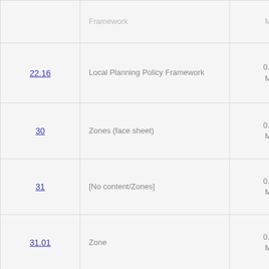|  |  |  |
| --- | --- | --- |
|  | Framework | MB |
| 22.16 | Local Planning Policy Framework | 0.04 MB |
| 30 | Zones (face sheet) | 0.01 MB |
| 31 | [No content/Zones] | 0.01 MB |
| 31.01 | Zone | 0.01 MB |
| 32 | Residential Zones (face sheet) | 0.01 MB |
| 32.03 (schedule) | Low Density Residential Zone (LDRZ) | 0.01 MB |